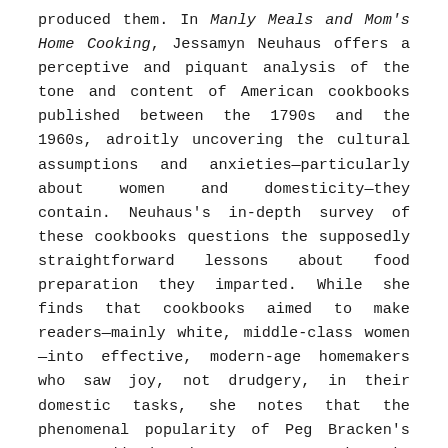produced them. In Manly Meals and Mom's Home Cooking, Jessamyn Neuhaus offers a perceptive and piquant analysis of the tone and content of American cookbooks published between the 1790s and the 1960s, adroitly uncovering the cultural assumptions and anxieties—particularly about women and domesticity—they contain. Neuhaus's in-depth survey of these cookbooks questions the supposedly straightforward lessons about food preparation they imparted. While she finds that cookbooks aimed to make readers—mainly white, middle-class women—into effective, modern-age homemakers who saw joy, not drudgery, in their domestic tasks, she notes that the phenomenal popularity of Peg Bracken's 1960 cookbook, The I Hate to Cook Book, attests to the limitations of this kind of indoctrination. At the same time, she explores